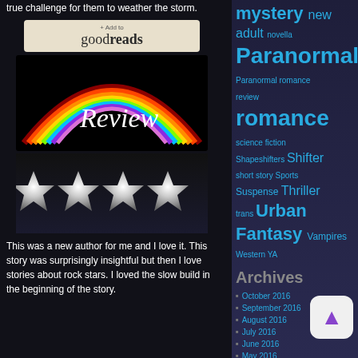true challenge for them to weather the storm.
[Figure (illustration): Goodreads + Add to button]
[Figure (illustration): Rainbow Review banner image with rainbow arc over black background and cursive 'Review' text]
[Figure (illustration): Four silver/metallic stars rating image]
This was a new author for me and I love it. This story was surprisingly insightful but then I love stories about rock stars. I loved the slow build in the beginning of the story.
mystery
new adult
novella
Paranormal
Paranormal romance
review
romance
science fiction
Shapeshifters
Shifter
short story
Sports
Suspense
Thriller
trans
Urban Fantasy
Vampires
Western
YA
Archives
October 2016
September 2016
August 2016
July 2016
June 2016
May 2016